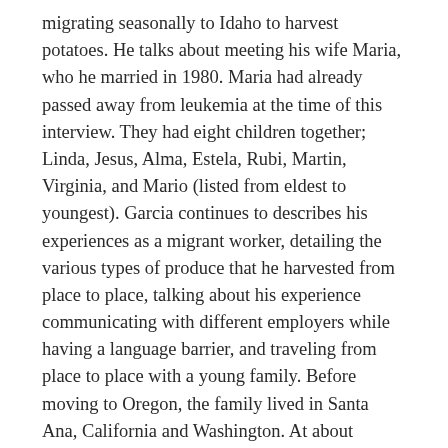migrating seasonally to Idaho to harvest potatoes. He talks about meeting his wife Maria, who he married in 1980. Maria had already passed away from leukemia at the time of this interview. They had eight children together; Linda, Jesus, Alma, Estela, Rubi, Martin, Virginia, and Mario (listed from eldest to youngest). Garcia continues to describes his experiences as a migrant worker, detailing the various types of produce that he harvested from place to place, talking about his experience communicating with different employers while having a language barrier, and traveling from place to place with a young family. Before moving to Oregon, the family lived in Santa Ana, California and Washington. At about minute 28:00, Garcia begins to recount the death of his 6 year old daughter, Virginia. After a small pause in minute 30:00, Garcia begins to